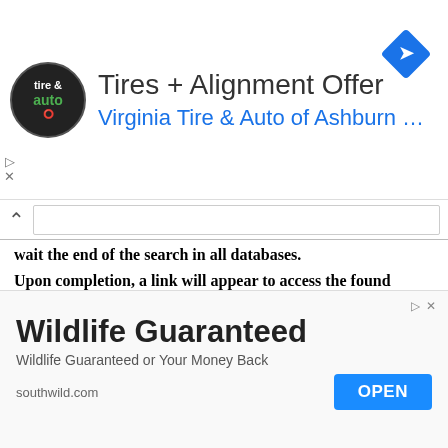[Figure (screenshot): Advertisement banner for Virginia Tire & Auto of Ashburn featuring logo, title 'Tires + Alignment Offer', subtitle 'Virginia Tire & Auto of Ashburn...', and a blue diamond direction icon]
wait the end of the search in all databases.
Upon completion, a link will appear to access the found materials.
Estimated time until the end of the search, seconds: 56
Looking to travel in Peru? Wait until Machu Picch...
[Figure (screenshot): Advertisement banner for southwild.com reading 'Wildlife Guaranteed' with subtitle 'Wildlife Guaranteed or Your Money Back', domain 'southwild.com' and an OPEN button]